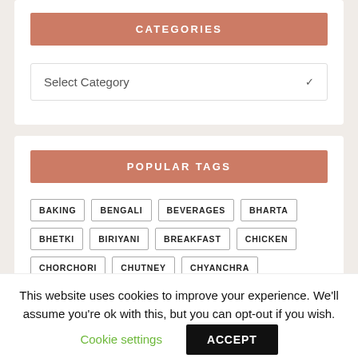CATEGORIES
Select Category
POPULAR TAGS
BAKING
BENGALI
BEVERAGES
BHARTA
BHETKI
BIRIYANI
BREAKFAST
CHICKEN
CHORCHORI
CHUTNEY
CHYANCHRA
COTTAGE CHEESE
CRAB
This website uses cookies to improve your experience. We'll assume you're ok with this, but you can opt-out if you wish.
Cookie settings
ACCEPT